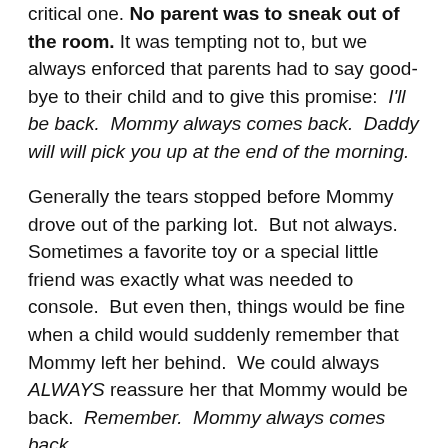critical one. No parent was to sneak out of the room. It was tempting not to, but we always enforced that parents had to say good-bye to their child and to give this promise:  I'll be back.  Mommy always comes back.  Daddy will will pick you up at the end of the morning.
Generally the tears stopped before Mommy drove out of the parking lot.  But not always.  Sometimes a favorite toy or a special little friend was exactly what was needed to console.  But even then, things would be fine when a child would suddenly remember that Mommy left her behind.  We could always ALWAYS reassure her that Mommy would be back.  Remember.  Mommy always comes back.
[Figure (photo): A photograph of a child, partially visible, appearing to be in an indoor or outdoor setting. The image is cropped at the bottom of the page.]